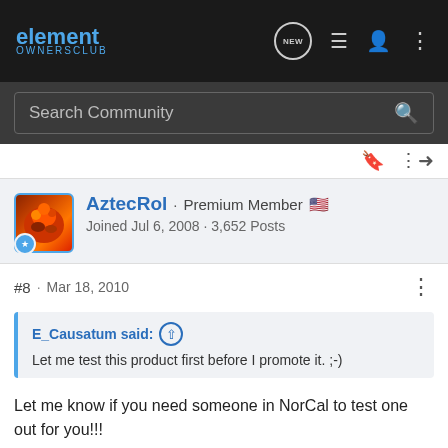element OWNERSCLUB
Search Community
AztecRol · Premium Member
Joined Jul 6, 2008 · 3,652 Posts
#8 · Mar 18, 2010
E_Causatum said:
Let me test this product first before I promote it. ;-)
Let me know if you need someone in NorCal to test one out for you!!!